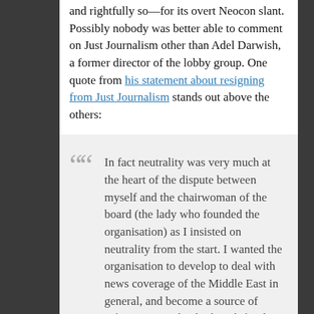and rightfully so—for its overt Neocon slant. Possibly nobody was better able to comment on Just Journalism other than Adel Darwish, a former director of the lobby group. One quote from his statement about resigning from Just Journalism stands out above the others:
In fact neutrality was very much at the heart of the dispute between myself and the chairwoman of the board (the lady who founded the organisation) as I insisted on neutrality from the start. I wanted the organisation to develop to deal with news coverage of the Middle East in general, and become a source of information and a think tank for the media dealing with the Middle East. Therefore when the lady holding the purse of the organisation and I had different agenda and different aims, I resigned as from 31 December 2009.